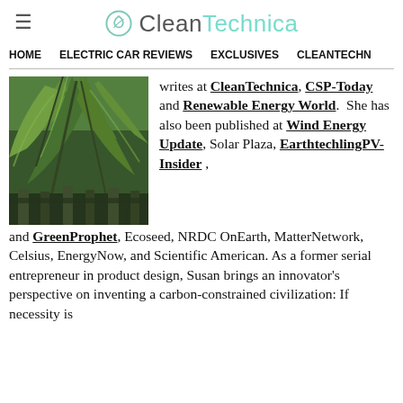CleanTechnica
HOME | ELECTRIC CAR REVIEWS | EXCLUSIVES | CLEANTECHN
[Figure (photo): Photograph of tropical palm/fern foliage with green leaves and branches in a garden setting]
writes at CleanTechnica, CSP-Today and Renewable Energy World.  She has also been published at Wind Energy Update, Solar Plaza, EarthtechlingPV-Insider , and GreenProphet, Ecoseed, NRDC OnEarth, MatterNetwork, Celsius, EnergyNow, and Scientific American. As a former serial entrepreneur in product design, Susan brings an innovator's perspective on inventing a carbon-constrained civilization: If necessity is